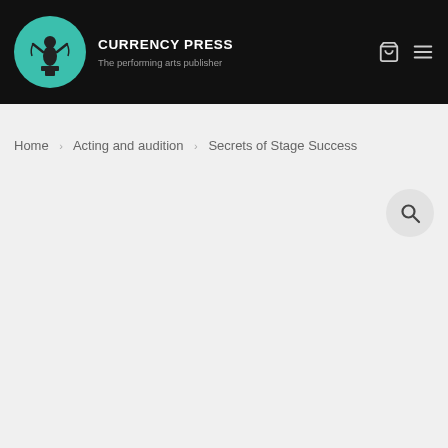CURRENCY PRESS — The performing arts publisher
Home > Acting and audition > Secrets of Stage Success
[Figure (other): Search icon button (magnifying glass)]